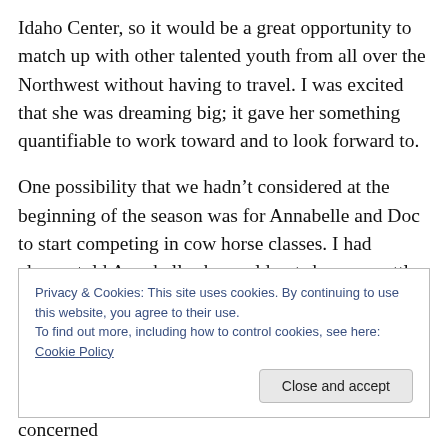Idaho Center, so it would be a great opportunity to match up with other talented youth from all over the Northwest without having to travel. I was excited that she was dreaming big; it gave her something quantifiable to work toward and to look forward to.
One possibility that we hadn't considered at the beginning of the season was for Annabelle and Doc to start competing in cow horse classes. I had always told Annabelle she could not show on cattle until she was ten, and she accepted that rule just fine until the day she was
Privacy & Cookies: This site uses cookies. By continuing to use this website, you agree to their use.
To find out more, including how to control cookies, see here: Cookie Policy
Close and accept
was getting along, but Roxanne was visibly concerned